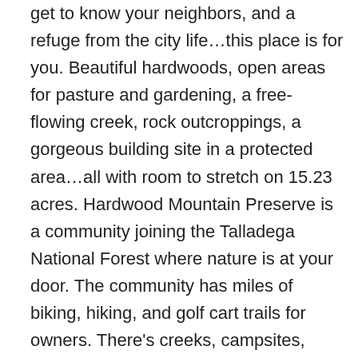get to know your neighbors, and a refuge from the city life…this place is for you. Beautiful hardwoods, open areas for pasture and gardening, a free-flowing creek, rock outcroppings, a gorgeous building site in a protected area…all with room to stretch on 15.23 acres. Hardwood Mountain Preserve is a community joining the Talladega National Forest where nature is at your door. The community has miles of biking, hiking, and golf cart trails for owners. There's creeks, campsites, beautiful scenery, and direct access to US Forest Service owned land for all of the Hardwood Mountain Preserve owners. If you are looking for a subdivision, keep looking. These are acreage lots developed with the rural lifestyle in mind. There are some common-sense restrictions that enhance the community. Located within 1 hour of both the Atlanta and Birmingham metro areas. It's like living in a National